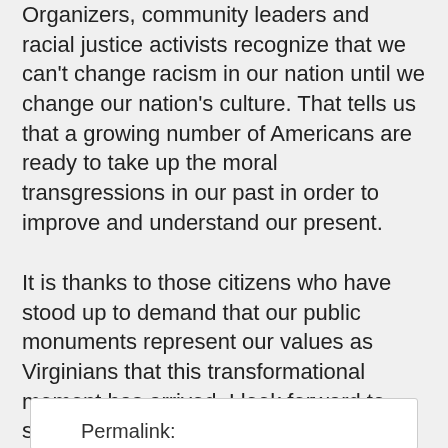Organizers, community leaders and racial justice activists recognize that we can't change racism in our nation until we change our nation's culture. That tells us that a growing number of Americans are ready to take up the moral transgressions in our past in order to improve and understand our present.
It is thanks to those citizens who have stood up to demand that our public monuments represent our values as Virginians that this transformational moment has arrived. I look forward to soon seeing Barbara Johns as the face of our commonwealth in the Capitol Rotunda.
Permalink: